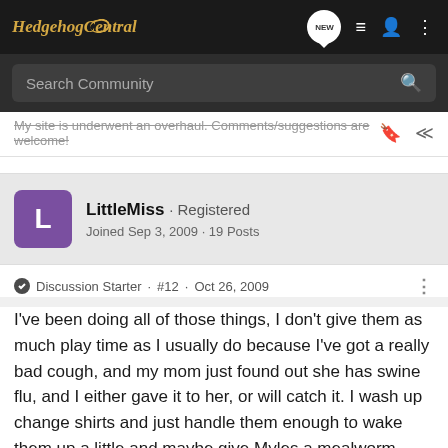Hedgehog Central
Search Community
My site is underwent an overhaul. Comments/suggestions are welcome!
LittleMiss · Registered
Joined Sep 3, 2009 · 19 Posts
Discussion Starter · #12 · Oct 26, 2009
I've been doing all of those things, I don't give them as much play time as I usually do because I've got a really bad cough, and my mom just found out she has swine flu, and I either gave it to her, or will catch it. I wash up change shirts and just handle them enough to wake them up a little and maybe give Myles a mealworm.